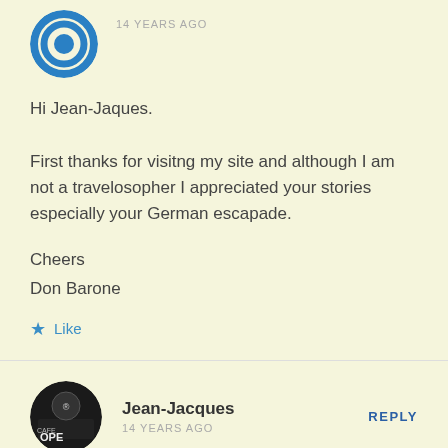[Figure (illustration): Blue target/bullseye avatar icon (partial view, top of page)]
14 YEARS AGO
Hi Jean-Jaques.

First thanks for visitng my site and although I am not a travelosopher I appreciated your stories especially your German escapade.

Cheers
Don Barone
Like
[Figure (photo): Circular avatar photo of Jean-Jacques showing a cafe/diner sign]
Jean-Jacques
14 YEARS AGO
REPLY